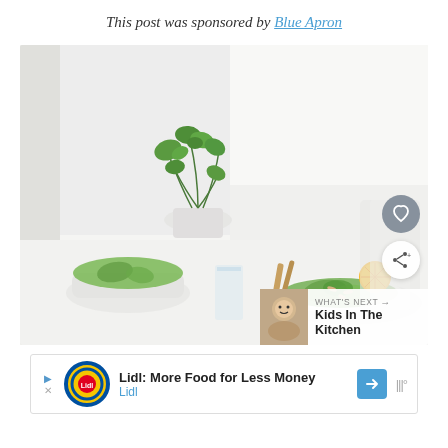This post was sponsored by Blue Apron
[Figure (photo): A bright, airy kitchen scene with green plants in a white pot, two bowls/plates of green salad with toppings (almonds, radish), a glass of water with herbs, wooden utensils, and a halved orange on a white table. Overlaid UI: heart button, share button, and a 'What's Next' thumbnail overlay showing 'Kids In The Kitchen'.]
Lidl: More Food for Less Money Lidl